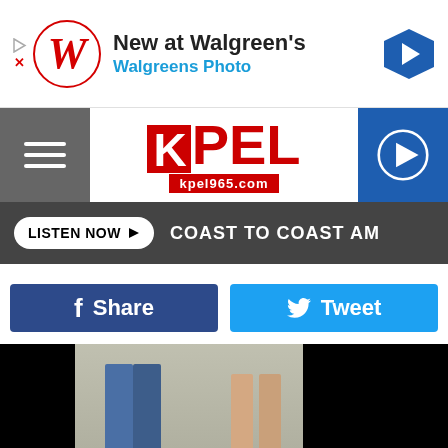[Figure (other): Walgreens advertisement banner: 'New at Walgreen's / Walgreens Photo' with Walgreens W logo and navigation arrow]
[Figure (logo): KPEL kpel965.com radio station logo with hamburger menu and play button]
LISTEN NOW ▶   COAST TO COAST AM
f  Share     Tweet
[Figure (photo): Photo of two people's legs/feet standing on a concrete floor, man in jeans and black shoes on left, woman in sandals on right]
Facebook Via Jessica Young Cloukey
From KPLC.com -
"I don't                                                        we were a                                                          ched
[Figure (other): Walgreens advertisement banner: 'Good for the Whole Family / Walgreens Photo' with Walgreens W logo and navigation arrow]